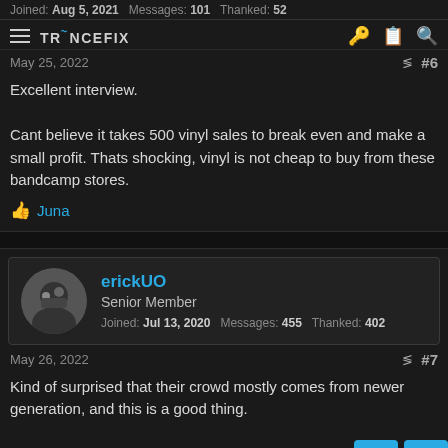Joined: Aug 5, 2021  Messages: 101  Thanked: 52
May 25, 2022  #6
Excellent interview.

Cant believe it takes 500 vinyl sales to break even and make a small profit. Thats shocking, vinyl is not cheap to buy from these bandcamp stores.
👍 Juna
erickUO
Senior Member
Joined: Jul 13, 2020  Messages: 455  Thanked: 402
May 26, 2022  #7
Kind of surprised that their crowd mostly comes from newer generation, and this is a good thing.

Great interview!